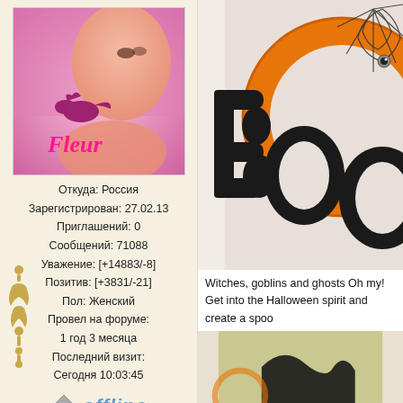[Figure (photo): Avatar photo of user Fleur - woman with pink bird, text 'Fleur' in pink italic]
Откуда: Россия
Зарегистрирован: 27.02.13
Приглашений: 0
Сообщений: 71088
Уважение: [+14883/-8]
Позитив: [+3831/-21]
Пол: Женский
Провел на форуме:
1 год 3 месяца
Последний визит:
Сегодня 10:03:45
[Figure (illustration): Offline icon with house symbol and blue italic text 'offline']
[Figure (photo): Halloween BOO wreath decoration with orange ring and spider web on white door]
Witches, goblins and ghosts Oh my!
Get into the Halloween spirit and create a spoo
[Figure (photo): Second Halloween decoration photo partially visible]